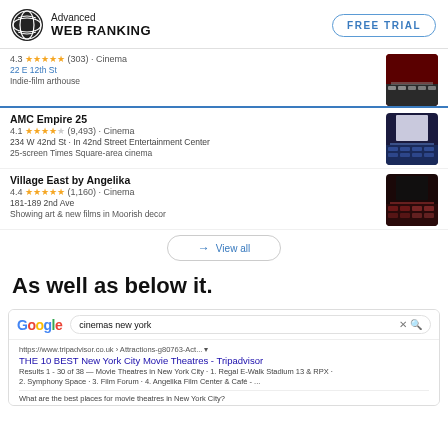[Figure (logo): Advanced Web Ranking logo with globe icon]
FREE TRIAL
4.3 ★★★★★ (303) · Cinema
22 E 12th St
Indie-film arthouse
AMC Empire 25
4.1 ★★★★☆ (9,493) · Cinema
234 W 42nd St · In 42nd Street Entertainment Center
25-screen Times Square-area cinema
Village East by Angelika
4.4 ★★★★★ (1,160) · Cinema
181-189 2nd Ave
Showing art & new films in Moorish decor
→ View all
As well as below it.
[Figure (screenshot): Google search results page showing search for 'cinemas new york' with TripAdvisor result: THE 10 BEST New York City Movie Theatres - Tripadvisor]